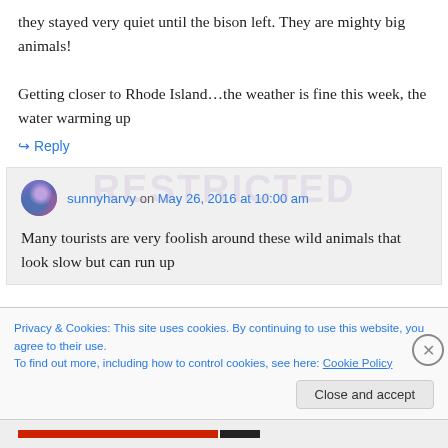they stayed very quiet until the bison left. They are mighty big animals!
Getting closer to Rhode Island…the weather is fine this week, the water warming up
↪ Reply
sunnyharvy on May 26, 2016 at 10:00 am
Many tourists are very foolish around these wild animals that look slow but can run up
Privacy & Cookies: This site uses cookies. By continuing to use this website, you agree to their use.
To find out more, including how to control cookies, see here: Cookie Policy
Close and accept